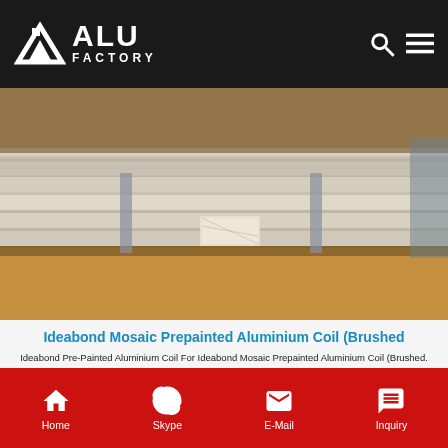ALU FACTORY
[Figure (photo): Stacked aluminium coil/sheet panels photographed in a factory or warehouse setting, metallic golden-silver surface visible]
Ideabond Mosaic Prepainted Aluminium Coil (Brushed
Ideabond Pre-Painted Aluminium Coil For Ideabond Mosaic Prepainted Aluminium Coil (Brushed. Pre-Painted Aluminium Coil, Color Coated Aluminium Coil, Aluminium Strip manufacturer supplier in, offering Ideabond Mosaic Prepainted Aluminium Coil (Brushed series), Plastic Cladding Wall Building Material Ideabond Color Painting Aluminum Coil, Spectra Material Coating Surface Fire-Resistance ACP
Get Price
Home  Skype  E-Mail  Inquiry